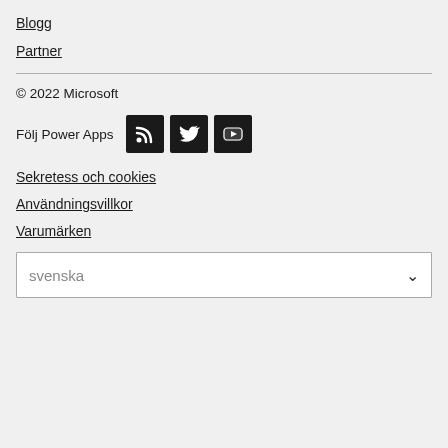Blogg
Partner
© 2022 Microsoft
Följ Power Apps
Sekretess och cookies
Användningsvillkor
Varumärken
svenska